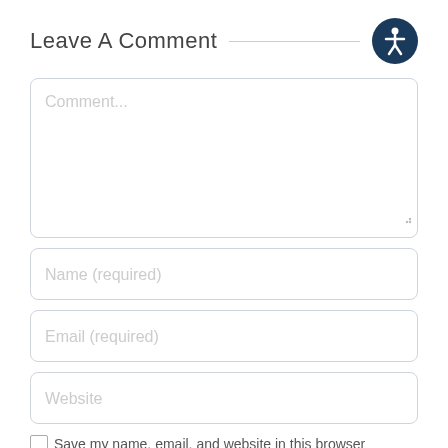Leave A Comment
[Figure (illustration): Accessibility icon — dark navy circle with white wheelchair-accessible person symbol inside]
Comment...
Name (required)
Email (required)
Website
Save my name, email, and website in this browser